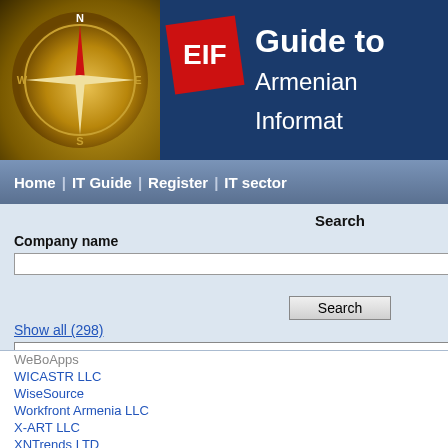[Figure (screenshot): EIF Guide to Armenian Information website header with compass logo and EIF red logo]
Guide to Armenian Informat
Home | IT Guide | Register | IT sector
Search
Company name
Advanced search
Show all (298)
-- Select Category --
Export to Excel
WeBoApps
WICASTR LLC
WiseSource
Workfront Armenia LLC
X-ART LLC
XNTrends LTD
YCRDI CJSC
Yereone LLC
Yerevak Technology cjsc
YEREVAN TELECOM SOLUTIONS CJSC
Yerevan Telecommunication Research Institute
3D Modeling Unio
Mr. Gurgen Paronyan
Apt. 203, 3 H. Hakoby
Phone: + 374 91 00 85
Email: info@3dm.am
http://www.3dm.am
Today most of the com Armenia are unified int Union. The 3D modelin efforts of the Associatio unified the majority of c Armenia. The member construction services, animation, games and promoting developmer Our mission is to: